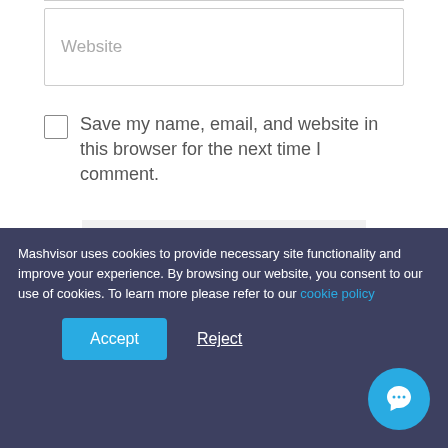Website
Save my name, email, and website in this browser for the next time I comment.
SUBMIT
looking for a...
Mashvisor uses cookies to provide necessary site functionality and improve your experience. By browsing our website, you consent to our use of cookies. To learn more please refer to our cookie policy
Accept
Reject